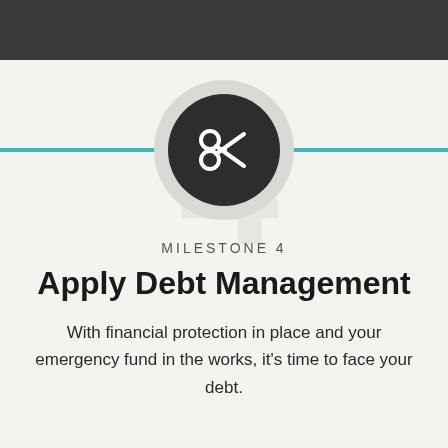[Figure (illustration): Scissors icon in a dark circle with a light grey outer ring, centered on the page with a teal horizontal rule behind it]
MILESTONE 4
Apply Debt Management
With financial protection in place and your emergency fund in the works, it's time to face your debt.